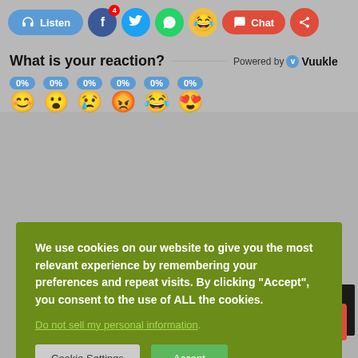[Figure (screenshot): Website social sharing toolbar with Listen, Facebook (4 notifications), Twitter, WhatsApp, laugh emoji, Chat, and Share buttons]
What is your reaction?
Powered by Vuukle
[Figure (infographic): Six emoji reaction options each showing 0% with blue bubble labels]
We use cookies on our website to give you the most relevant experience by remembering your preferences and repeat visits. By clicking "Accept", you consent to the use of ALL the cookies.
Do not sell my personal information.
[Figure (screenshot): Cookie Settings and Accept buttons on dark olive/green cookie consent banner]